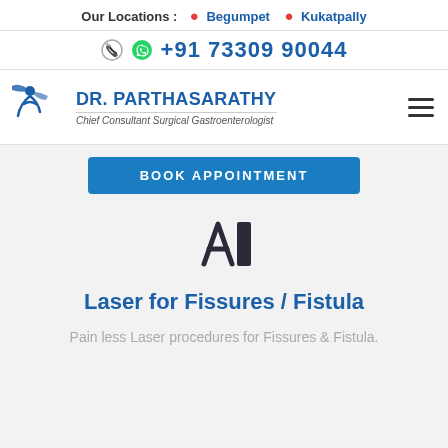Our Locations : Begumpet   Kukatpally
+91 73309 90044
[Figure (logo): Dr. Parthasarathy logo with stylized figure and tagline: Chief Consultant Surgical Gastroenterologist]
BOOK APPOINTMENT
[Figure (illustration): Stylized icon representing a medical procedure or anatomy]
Laser for Fissures / Fistula
Pain less Laser procedures for Fissures & Fistula.